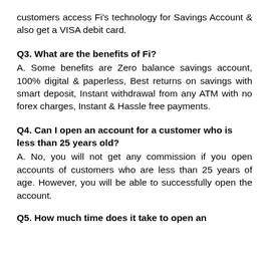customers access Fi's technology for Savings Account & also get a VISA debit card.
Q3. What are the benefits of Fi?
A. Some benefits are Zero balance savings account, 100% digital & paperless, Best returns on savings with smart deposit, Instant withdrawal from any ATM with no forex charges, Instant & Hassle free payments.
Q4. Can I open an account for a customer who is less than 25 years old?
A. No, you will not get any commission if you open accounts of customers who are less than 25 years of age. However, you will be able to successfully open the account.
Q5. How much time does it take to open an